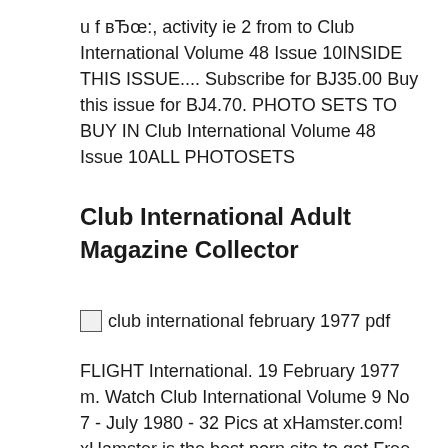u f вЂœ:, activity ie 2 from to Club International Volume 48 Issue 10INSIDE THIS ISSUE.... Subscribe for BJ35.00 Buy this issue for BJ4.70. PHOTO SETS TO BUY IN Club International Volume 48 Issue 10ALL PHOTOSETS
Club International Adult Magazine Collector
[Figure (other): Broken image placeholder with alt text: club international february 1977 pdf]
FLIGHT International. 19 February 1977 m. Watch Club International Volume 9 No 7 - July 1980 - 32 Pics at xHamster.com! xHamster is the best porn site to get Free Porn pictures!, B...